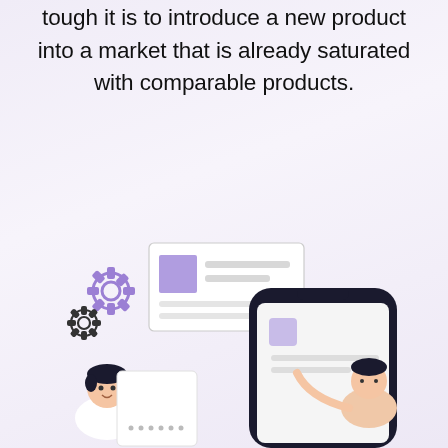tough it is to introduce a new product into a market that is already saturated with comparable products.
[Figure (illustration): An illustration showing two people interacting with digital UI elements: a person on the left with gear/cog icons above them beside a card UI element with a purple square, and a person on the right interacting with a large dark smartphone, all on a light purple gradient background.]